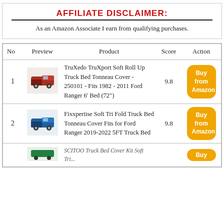AFFILIATE DISCLAIMER:
As an Amazon Associate I earn from qualifying purchases.
| No | Preview | Product | Score | Action |
| --- | --- | --- | --- | --- |
| 1 | [image] | TruXedo TruXport Soft Roll Up Truck Bed Tonneau Cover - 250101 - Fits 1982 - 2011 Ford Ranger 6' Bed (72") | 9.8 | Buy from Amazon |
| 2 | [image] | Fixxpertise Soft Tri Fold Truck Bed Tonneau Cover Fits for Ford Ranger 2019-2022 5FT Truck Bed | 9.8 | Buy from Amazon |
|  | [image] | SCITOO Truck Bed Cover Kit Soft Tri... |  | Buy from Amazon |